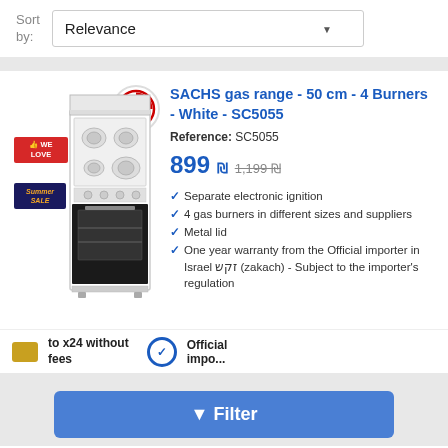Sort by: Relevance
SACHS gas range - 50 cm - 4 Burners - White - SC5055
Reference: SC5055
899 ₪ 1,199 ₪
Separate electronic ignition
4 gas burners in different sizes and suppliers
Metal lid
One year warranty from the Official importer in Israel זקש (zakach) - Subject to the importer's regulation
to x24 without fees
Official importer
Filter
[Figure (logo): Lenco brand logo in blue text]
Lenco gas range 50 cm - Gas safety sensors - white -